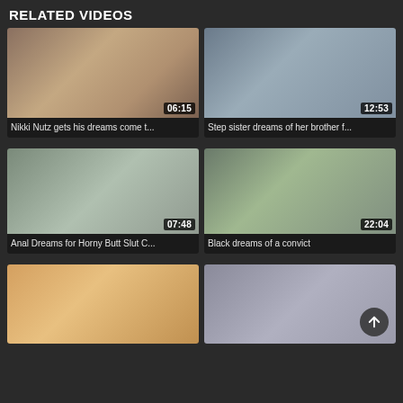RELATED VIDEOS
[Figure (screenshot): Video thumbnail 1 - duration 06:15]
Nikki Nutz gets his dreams come t...
[Figure (screenshot): Video thumbnail 2 - duration 12:53]
Step sister dreams of her brother f...
[Figure (screenshot): Video thumbnail 3 - duration 07:48]
Anal Dreams for Horny Butt Slut C...
[Figure (screenshot): Video thumbnail 4 - duration 22:04]
Black dreams of a convict
[Figure (screenshot): Video thumbnail 5 - partial view]
[Figure (screenshot): Video thumbnail 6 - partial view with scroll-up button]